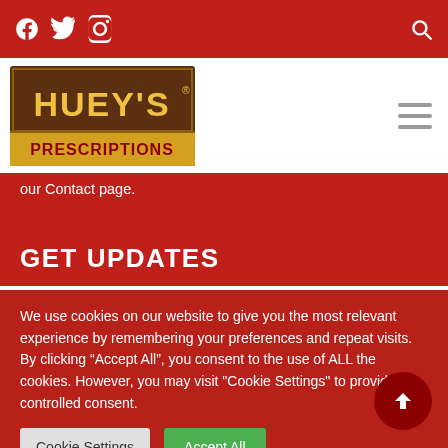Social icons (Facebook, Twitter, Instagram) and search icon on red navigation bar
[Figure (logo): Huey's Prescriptions restaurant logo — brown and gold Western-style sign]
our Contact page.
GET UPDATES
We use cookies on our website to give you the most relevant experience by remembering your preferences and repeat visits. By clicking "Accept All", you consent to the use of ALL the cookies. However, you may visit "Cookie Settings" to provide a controlled consent.